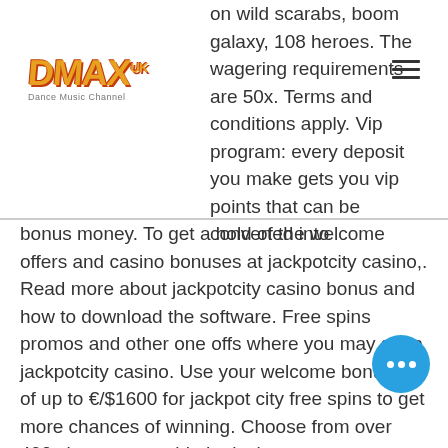[Figure (logo): DMAX logo with orange/red stylized text and small subtitle text]
on wild scarabs, boom galaxy, 108 heroes. The wagering requirements are 50x. Terms and conditions apply. Vip program: every deposit you make gets you vip points that can be converted into bonus money. To get a hold of the welcome offers and casino bonuses at jackpotcity casino,. Read more about jackpotcity casino bonus and how to download the software. Free spins promos and other one offs where you may get a jackpotcity casino. Use your welcome bonuses of up to €/$1600 for jackpot city free spins to get more chances of winning. Choose from over 400 slot games to hit the jackpot The main tasks to earn cryptocurrencies in games are these: 1, bitstarz casino промокод при регистрации бездепозитный. First of all it will be defeat the ' Anti-Spyspare '. The main goal of every player is to acquire the